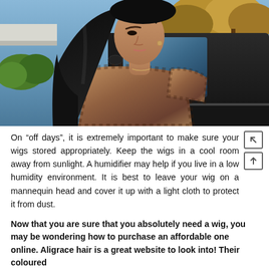[Figure (photo): Young woman with long straight dark hair wearing a brown plaid/checkered short-sleeve top, photographed from behind/side angle in front of a dark SUV parked outdoors with blue sky and autumn trees in background.]
On “off days”, it is extremely important to make sure your wigs stored appropriately. Keep the wigs in a cool room away from sunlight. A humidifier may help if you live in a low humidity environment. It is best to leave your wig on a mannequin head and cover it up with a light cloth to protect it from dust.
Now that you are sure that you absolutely need a wig, you may be wondering how to purchase an affordable one online. Aligrace hair is a great website to look into! Their coloured